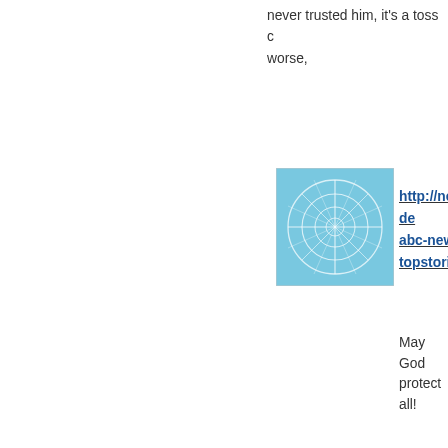never trusted him, it's a toss worse,
[Figure (illustration): Square avatar with light blue background and abstract white line pattern]
http://news.yahoo.com/4-de abc-news-topstories.html
May God protect all!
[Figure (illustration): Square avatar with pink/red background and abstract white line pattern]
there are indications that extr demonstrations
The implication here is that th American diplomatic facilities personnel murdered, by mod
Posted by: k
[Figure (illustration): Square avatar with olive green background and geometric white line pattern]
He's making a big mistake no immunity and then letting the persuade him to do just that.